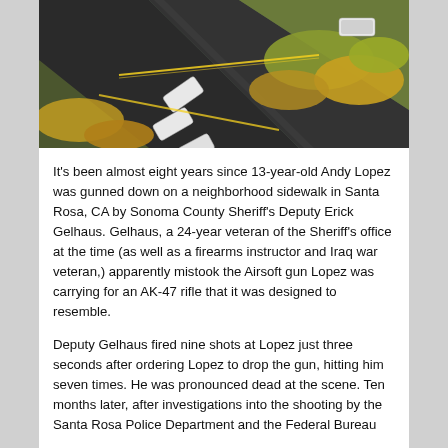[Figure (photo): Aerial view of a road with several white police vehicles and yellow crime scene tape, surrounded by dry vegetation and autumn-colored bushes.]
It's been almost eight years since 13-year-old Andy Lopez was gunned down on a neighborhood sidewalk in Santa Rosa, CA by Sonoma County Sheriff's Deputy Erick Gelhaus. Gelhaus, a 24-year veteran of the Sheriff's office at the time (as well as a firearms instructor and Iraq war veteran,) apparently mistook the Airsoft gun Lopez was carrying for an AK-47 rifle that it was designed to resemble.
Deputy Gelhaus fired nine shots at Lopez just three seconds after ordering Lopez to drop the gun, hitting him seven times. He was pronounced dead at the scene. Ten months later, after investigations into the shooting by the Santa Rosa Police Department and the Federal Bureau